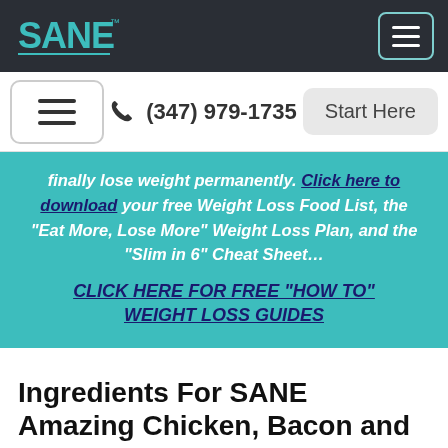SANE logo and navigation bar with hamburger menu
Menu | (347) 979-1735 | Start Here
finally lose weight permanently. Click here to download your free Weight Loss Food List, the “Eat More, Lose More” Weight Loss Plan, and the “Slim in 6” Cheat Sheet…
CLICK HERE FOR FREE “HOW TO” WEIGHT LOSS GUIDES
Ingredients For SANE Amazing Chicken, Bacon and Beef Trifecta